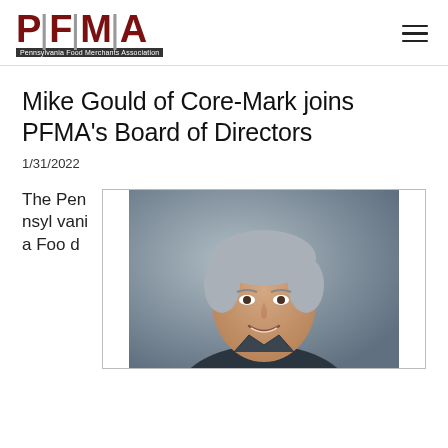[Figure (logo): PFMA - Pennsylvania Food Merchants Association logo]
Mike Gould of Core-Mark joins PFMA's Board of Directors
1/31/2022
The Pennsylvania Foo d
[Figure (photo): Professional headshot of Mike Gould, a middle-aged man with gray hair, smiling, against a gray background]